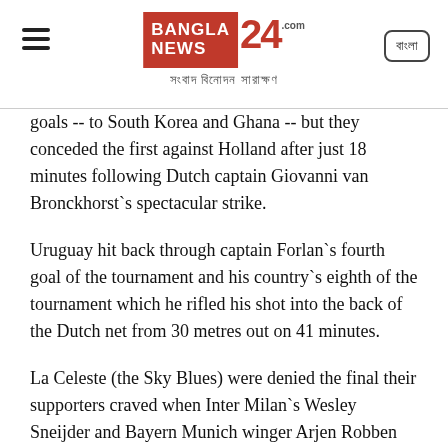Bangla News 24.com — সংবাদ বিনোদন সারাক্ষণ
goals -- to South Korea and Ghana -- but they conceded the first against Holland after just 18 minutes following Dutch captain Giovanni van Bronckhorst`s spectacular strike.
Uruguay hit back through captain Forlan`s fourth goal of the tournament and his country`s eighth of the tournament which he rifled his shot into the back of the Dutch net from 30 metres out on 41 minutes.
La Celeste (the Sky Blues) were denied the final their supporters craved when Inter Milan`s Wesley Sneijder and Bayern Munich winger Arjen Robben both scored within three minutes in the second-half.
Maxi Pereira grabbed a consolation goal in stoppage time, but it was too late to deny the Dutch.